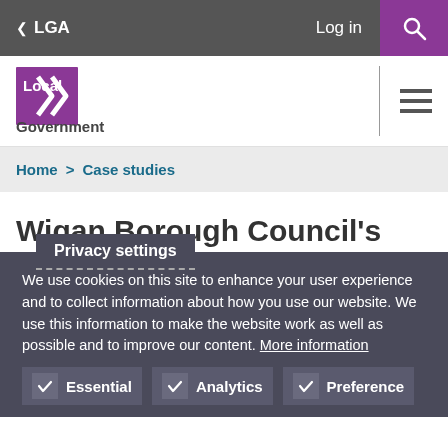< LGA   Log in  [search icon]
[Figure (logo): Local Government Association logo with purple icon and dark text]
Home > Case studies
Wigan Borough Council's health and wellbeing
Privacy settings
We use cookies on this site to enhance your user experience and to collect information about how you use our website. We use this information to make the website work as well as possible and to improve our content. More information
Essential   Analytics   Preference